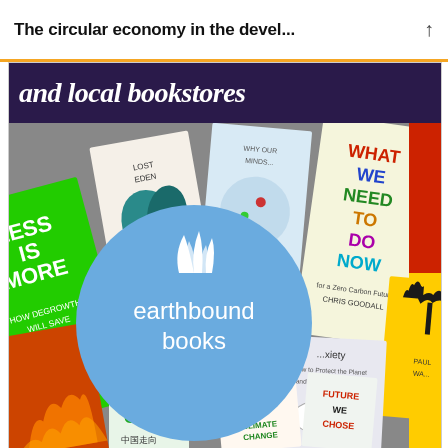The circular economy in the devel...
[Figure (photo): A collage of book covers related to environment, climate change, and sustainability topics, with an Earthbound Books logo circle overlaid in the center. The banner at the top reads 'and local bookstores'. Books visible include 'Less is More: How Degrowth Will Save the World', 'What We Need To Do Now' by Chris Goodall, 'Food and Climate Change', 'Future We Choose', and several Chinese-language environmental books.]